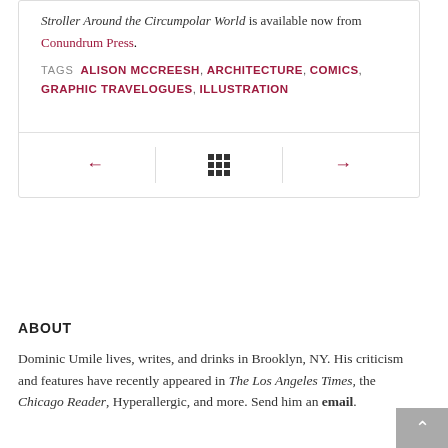Stroller Around the Circumpolar World is available now from Conundrum Press.
TAGS  ALISON MCCREESH, ARCHITECTURE, COMICS, GRAPHIC TRAVELOGUES, ILLUSTRATION
[Figure (other): Navigation bar with left arrow, grid icon, and right arrow inside a bordered box]
ABOUT
Dominic Umile lives, writes, and drinks in Brooklyn, NY. His criticism and features have recently appeared in The Los Angeles Times, the Chicago Reader, Hyperallergic, and more. Send him an email.